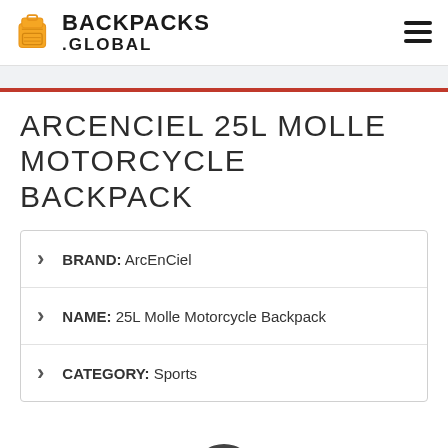BACKPACKS .GLOBAL
ARCENCIEL 25L MOLLE MOTORCYCLE BACKPACK
BRAND: ArcEnCiel
NAME: 25L Molle Motorcycle Backpack
CATEGORY: Sports
[Figure (photo): Partial view of product thumbnail images at bottom of page]